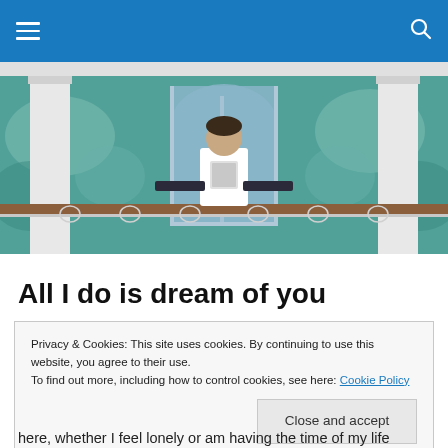≡  🔍
[Figure (photo): A young man standing on a balcony with ornate ironwork railing, flanked by two white classical columns, in front of an arched window. The background wall has teal/blue peeling painted floral patterns.]
All I do is dream of you
Privacy & Cookies: This site uses cookies. By continuing to use this website, you agree to their use.
To find out more, including how to control cookies, see here: Cookie Policy
Close and accept
here, whether I feel lonely or am having the time of my life